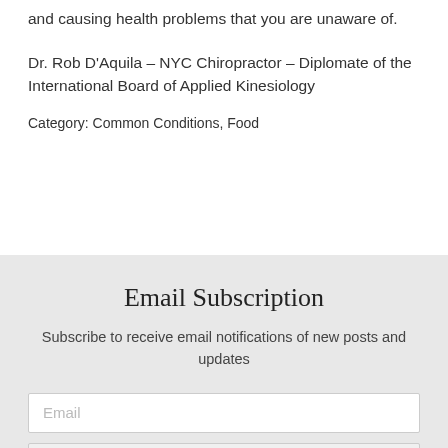and causing health problems that you are unaware of.
Dr. Rob D'Aquila – NYC Chiropractor – Diplomate of the International Board of Applied Kinesiology
Category: Common Conditions, Food
Email Subscription
Subscribe to receive email notifications of new posts and updates
Email
Submit